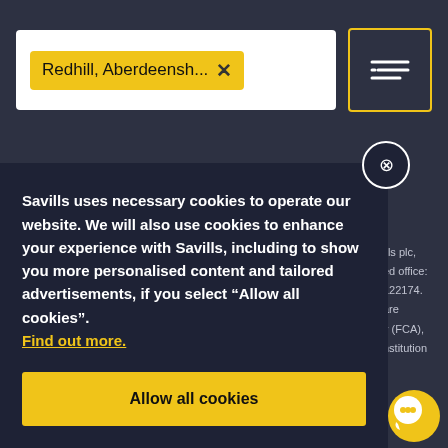[Figure (screenshot): Search bar with yellow location tag 'Redhill, Aberdeensh...' with X, and yellow-bordered filter icon button]
Careers with Savills
Ask a Question
Investor Relations
Savills uses necessary cookies to operate our website. We will also use cookies to enhance your experience with Savills, including to show you more personalised content and tailored advertisements, if you select “Allow all cookies”. Find out more.
Allow all cookies